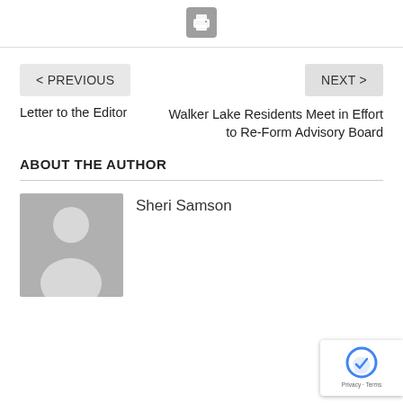[Figure (other): Print icon button (printer symbol on grey rounded square background)]
< PREVIOUS
NEXT >
Letter to the Editor
Walker Lake Residents Meet in Effort to Re-Form Advisory Board
ABOUT THE AUTHOR
[Figure (illustration): Generic avatar/person placeholder silhouette on grey square background]
Sheri Samson